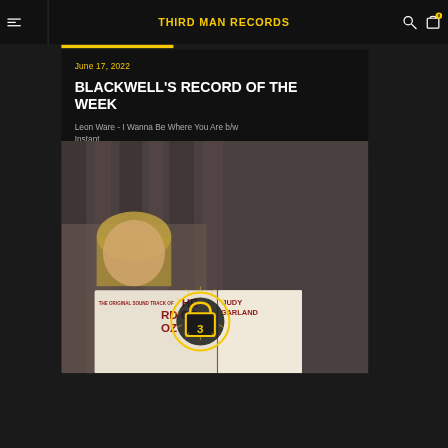THIRD MAN RECORDS
June 17, 2022
BLACKWELL'S RECORD OF THE WEEK
Leon Ware - I Wanna Be Where You Are b/w Instant...
[Figure (photo): Person holding a Judy Garland record album (The Wizard of Oz original soundtrack). The Third Man Records logo/lock emblem is overlaid on the image.]